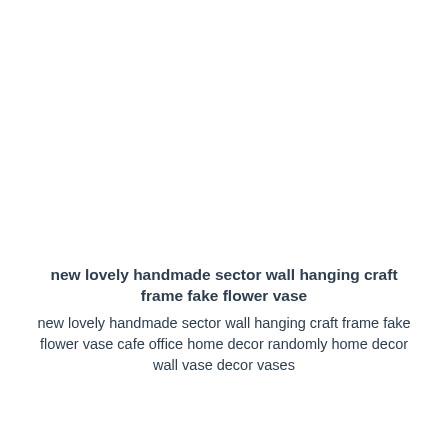new lovely handmade sector wall hanging craft frame fake flower vase
new lovely handmade sector wall hanging craft frame fake flower vase cafe office home decor randomly home decor wall vase decor vases